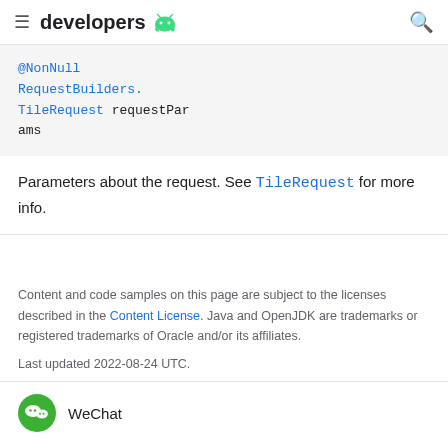developers [Android logo]
@NonNull RequestBuilders.TileRequest requestParams
Parameters about the request. See TileRequest for more info.
Content and code samples on this page are subject to the licenses described in the Content License. Java and OpenJDK are trademarks or registered trademarks of Oracle and/or its affiliates.
Last updated 2022-08-24 UTC.
WeChat